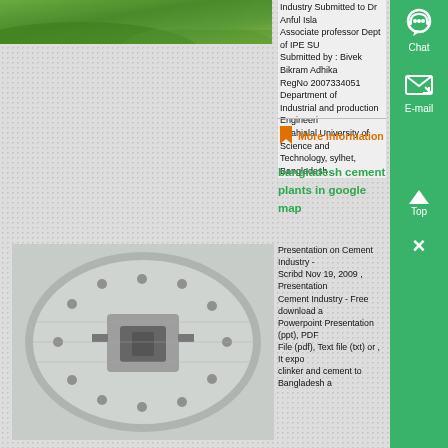[Figure (photo): Aerial or landscape green nature photo at the top left]
Industry Submitted to Dr Anful Islam Associate professor Dept of IPE SU Submitted by : Bivek Bikram Adhika RegNo 2007334051 Department of Industrial and production Engineeri Shahjalal University of Science and Technology, sylhet, Bangladesh ...
More information
[Figure (photo): Industrial cement mill/ball mill equipment - large cylindrical drum with bolts and fixtures]
bangladesh cement plants in google map
Presentation on Cement Industry - Scribd Nov 19, 2009 , Presentation Cement Industry - Free download a Powerpoint Presentation (ppt), PDF File (pdf), Text file (txt) or , It expo clinker and cement to Bangladesh a